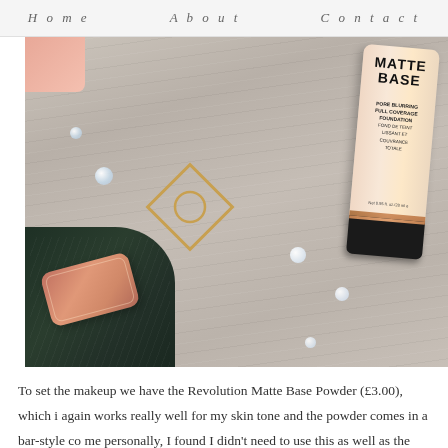Home   About   Contact
[Figure (photo): Flatlay photo on a grey wood surface showing a Matte Base Pore Blurring Full Coverage Foundation tube in beige/nude colour with black cap and rose gold detail, alongside a rose gold compact, dark green fabric, gold geometric accessory, and crystal gems/rhinestones scattered around.]
To set the makeup we have the Revolution Matte Base Powder (£3.00), which again works really well for my skin tone and the powder comes in a bar-style co me personally, I found I didn't need to use this as well as the Foundation, but I d